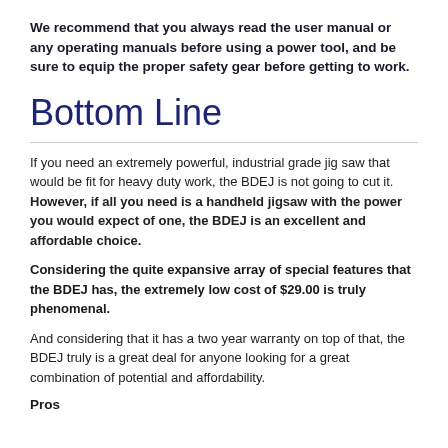We recommend that you always read the user manual or any operating manuals before using a power tool, and be sure to equip the proper safety gear before getting to work.
Bottom Line
If you need an extremely powerful, industrial grade jig saw that would be fit for heavy duty work, the BDEJ is not going to cut it. However, if all you need is a handheld jigsaw with the power you would expect of one, the BDEJ is an excellent and affordable choice.
Considering the quite expansive array of special features that the BDEJ has, the extremely low cost of $29.00 is truly phenomenal.
And considering that it has a two year warranty on top of that, the BDEJ truly is a great deal for anyone looking for a great combination of potential and affordability.
Pros